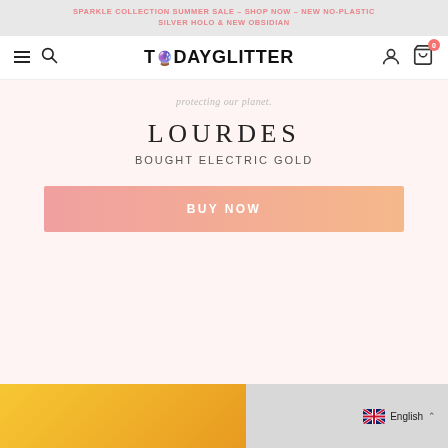SPARKLE COLLECTION SUMMER SALE – SHOP NOW – NEW NO-PLASTIC SILVER HOLO & NEW OBSIDIAN
[Figure (screenshot): Today Glitter website navigation bar with hamburger menu, search icon, TODAYGLITTER logo with disco ball emoji, user account icon, and shopping cart icon with badge showing 0]
protecting our planet.
LOURDES
BOUGHT ELECTRIC GOLD
BUY NOW
[Figure (photo): Bottom portion of webpage showing a partial product image strip with yellow/gold background on the left side and grey on the right, with English language selector in the bottom right corner]